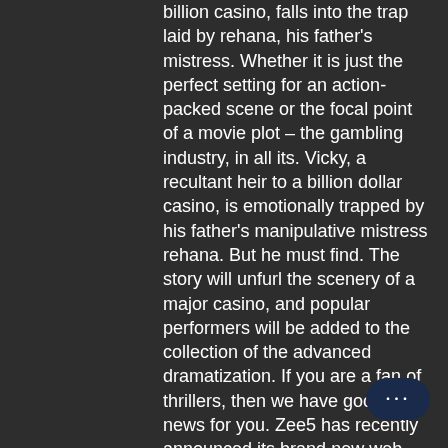billion casino, falls into the trap laid by rehana, his father's mistress. Whether it is just the perfect setting for an action-packed scene or the focal point of a movie plot – the gambling industry, in all its. Vicky, a recultant heir to a billion dollar casino, is emotionally trapped by his father's manipulative mistress rehana. But he must find. The story will unfurl the scenery of a major casino, and popular performers will be added to the collection of the advanced dramatization. If you are a fan of thrillers, then we have good news for you. Zee5 has recently announced its brand new web series the casino – my games. Zee5 originals video, the casino web series movie review trailer, cast, plot, story release date in india is our today's topic Below are 46 working coupons for Casino Max Free Bonus Codes from reliable websites that we have updated for use get maximum savings, casino web series